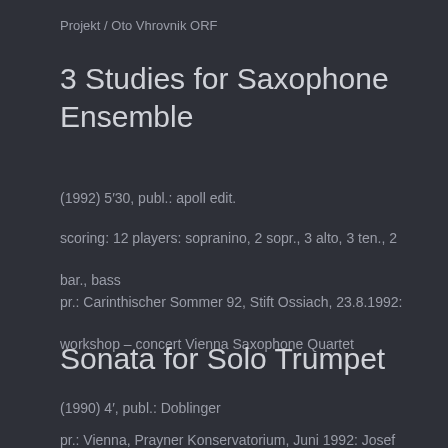Projekt / Oto Vhrovnik ORF
3 Studies for Saxophone Ensemble
(1992) 5′30, publ.: apoll edit.
scoring: 12 players: sopranino, 2 sopr., 3 alto, 3 ten., 2 bar., bass
pr.: Carinthischer Sommer 92, Stift Ossiach, 23.8.1992: workshop – concert Vienna Saxophone Quartet
Sonata for Solo Trumpet
(1990) 4′, publ.: Doblinger
pr.: Vienna, Prayner Konservatorium, Juni 1992: Josef